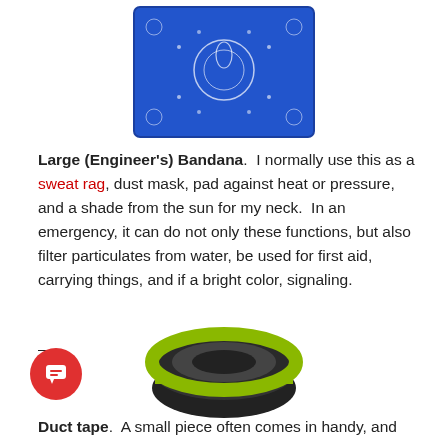[Figure (photo): Blue paisley bandana folded into a square, viewed from above]
Large (Engineer's) Bandana.  I normally use this as a sweat rag, dust mask, pad against heat or pressure, and a shade from the sun for my neck.  In an emergency, it can do not only these functions, but also filter particulates from water, be used for first aid, carrying things, and if a bright color, signaling.
–
10
[Figure (photo): Roll of black duct tape (Nashua brand heavy-duty duct tape)]
Duct tape.  A small piece often comes in handy, and